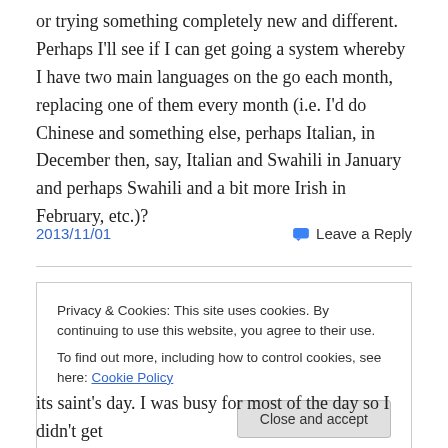or trying something completely new and different. Perhaps I'll see if I can get going a system whereby I have two main languages on the go each month, replacing one of them every month (i.e. I'd do Chinese and something else, perhaps Italian, in December then, say, Italian and Swahili in January and perhaps Swahili and a bit more Irish in February, etc.)?
2013/11/01
Leave a Reply
Privacy & Cookies: This site uses cookies. By continuing to use this website, you agree to their use.
To find out more, including how to control cookies, see here: Cookie Policy
Close and accept
its saint's day. I was busy for most of the day so I didn't get